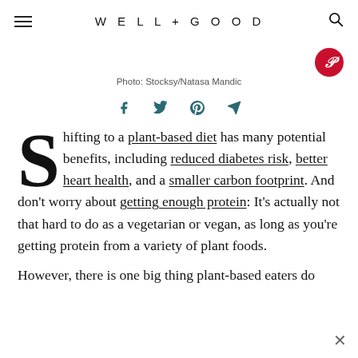WELL+GOOD
Photo: Stocksy/Natasa Mandic
Shifting to a plant-based diet has many potential benefits, including reduced diabetes risk, better heart health, and a smaller carbon footprint. And don't worry about getting enough protein: It's actually not that hard to do as a vegetarian or vegan, as long as you're getting protein from a variety of plant foods.
However, there is one big thing plant-based eaters do